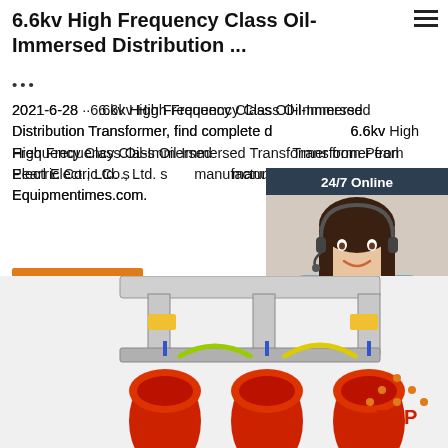6.6kv High Frequency Class Oil-Immersed Distribution ...
2021-6-28 · 6.6kv High Frequency Class Oil-Immersed Distribution Transformer, find complete details about 6.6kv High Frequency Class Oil-Immersed Distribution Transformer from Pearl Electric Co., Ltd. supplier or manufacturer on Equipmentimes.com.
[Figure (screenshot): 24/7 Online chat widget with photo of woman wearing headset, 'Click here for free chat!' text, and QUOTATION button]
[Figure (photo): Oil-immersed distribution transformer with red cylindrical coils and metal frame, partial view from below]
[Figure (other): TOP button with orange triangle dots icon]